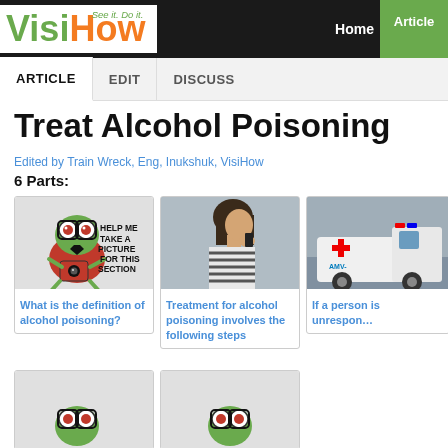VisiHow — See it. Do it. | Home | Articles
ARTICLE | EDIT | DISCUSS
Treat Alcohol Poisoning
Edited by Train Wreck, Eng, Inukshuk, VisiHow
6 Parts:
[Figure (illustration): Frog cartoon character with glasses holding a camera with text 'HELP ME TAKE A PICTURE FOR THIS SECTION']
What is the definition of alcohol poisoning?
[Figure (photo): Person talking on phone, side profile, striped shirt]
Treatment for alcohol poisoning involves the following steps
[Figure (photo): Ambulance vehicle visible in background]
If a person is unrespon…
[Figure (illustration): Partial frog cartoon image visible at bottom left]
[Figure (illustration): Partial frog cartoon image visible at bottom center]